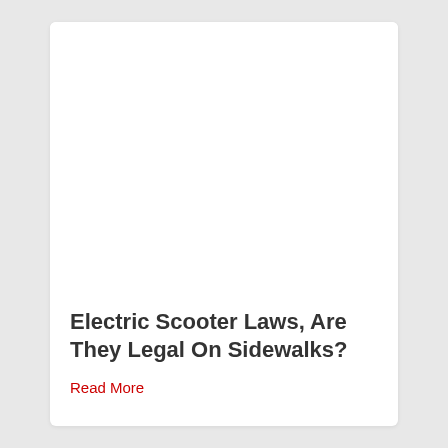Electric Scooter Laws, Are They Legal On Sidewalks?
Read More